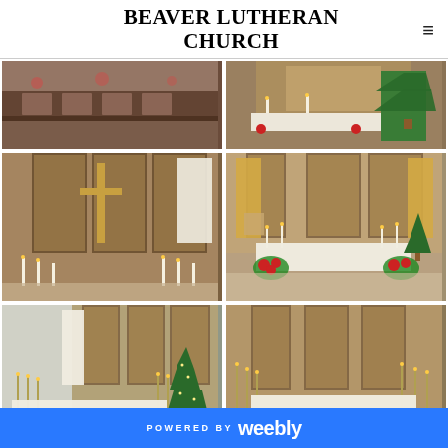BEAVER LUTHERAN CHURCH
[Figure (photo): Church interior showing pews with people seated, Christmas decorations visible]
[Figure (photo): Church altar with Christmas decorations, banners, and Christmas tree]
[Figure (photo): Close-up of church altar area showing large cross on brick wall with stained glass windows and candles]
[Figure (photo): Church altar with white cloth, Christmas tree on right, poinsettias, candles and decorative banners]
[Figure (photo): Church interior showing altar with white cloth, Christmas tree, and red floral arrangements]
[Figure (photo): Church altar with white cloth, stained glass windows, red and white floral arrangements, candles]
POWERED BY weebly